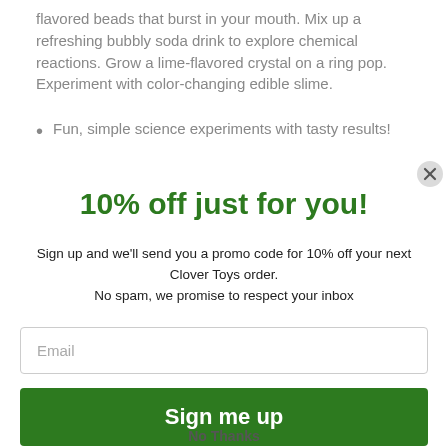flavored beads that burst in your mouth. Mix up a refreshing bubbly soda drink to explore chemical reactions. Grow a lime-flavored crystal on a ring pop. Experiment with color-changing edible slime.
Fun, simple science experiments with tasty results!
10% off just for you!
Sign up and we'll send you a promo code for 10% off your next Clover Toys order.
No spam, we promise to respect your inbox
Email
Sign me up
No Thanks